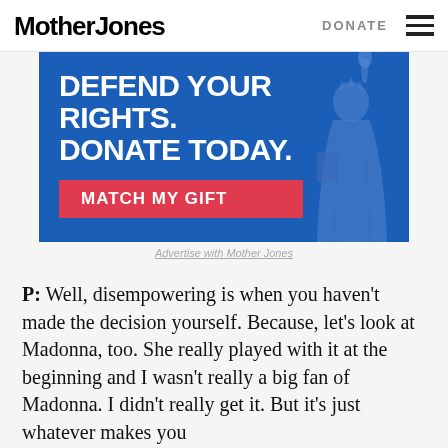Mother Jones   DONATE
[Figure (infographic): Blue advertisement banner reading 'DEFEND YOUR RIGHTS. DONATE TODAY.' with a red 'MATCH MY GIFT' button and a statue silhouette on the right side.]
Advertise with Mother Jones
P: Well, disempowering is when you haven't made the decision yourself. Because, let's look at Madonna, too. She really played with it at the beginning and I wasn't really a big fan of Madonna. I didn't really get it. But it's just whatever makes you